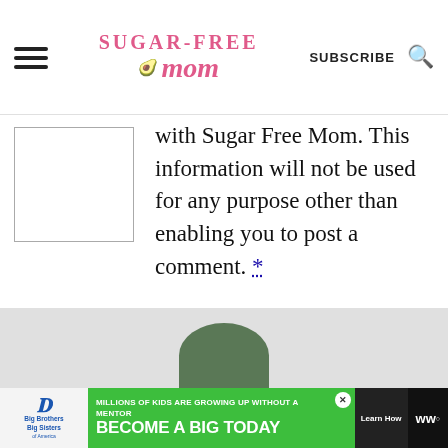Sugar-Free Mom — SUBSCRIBE [search icon]
with Sugar Free Mom. This information will not be used for any purpose other than enabling you to post a comment. *
POST COMMENT
[Figure (screenshot): Share button icon — circular button with share/network icon in blue]
[Figure (photo): Partial bottom image with green rounded top shape on gray background]
[Figure (infographic): Ad banner: Big Brothers Big Sisters — MILLIONS OF KIDS ARE GROWING UP WITHOUT A MENTOR. BECOME A BIG TODAY. Learn How. WW logo at right.]